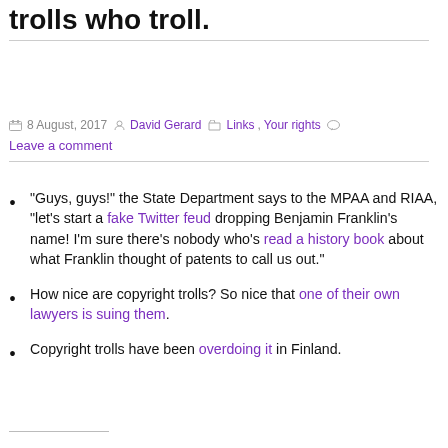High seas links: trolling the trolls who troll.
8 August, 2017 David Gerard Links, Your rights Leave a comment
“Guys, guys!” the State Department says to the MPAA and RIAA, “let’s start a fake Twitter feud dropping Benjamin Franklin’s name! I’m sure there’s nobody who’s read a history book about what Franklin thought of patents to call us out.”
How nice are copyright trolls? So nice that one of their own lawyers is suing them.
Copyright trolls have been overdoing it in Finland.